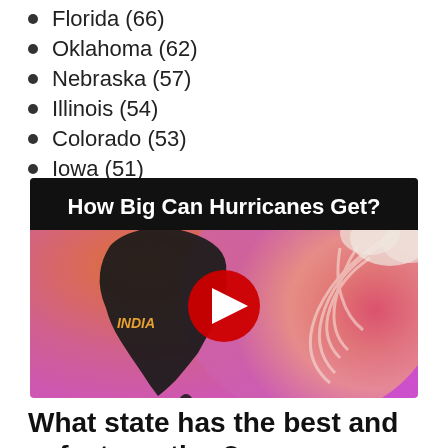Florida (66)
Oklahoma (62)
Nebraska (57)
Illinois (54)
Colorado (53)
Iowa (51)
[Figure (screenshot): YouTube video thumbnail titled 'How Big Can Hurricanes Get?' showing a silhouette map of India on an orange-to-pink gradient background with a hurricane swirl pattern on the right side and a red YouTube play button in the center.]
What state has the best and safest weather?